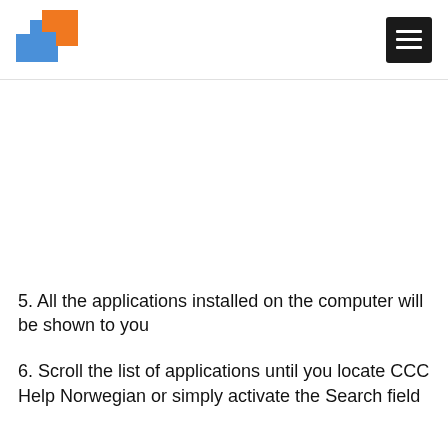5. All the applications installed on the computer will be shown to you
6. Scroll the list of applications until you locate CCC Help Norwegian or simply activate the Search field